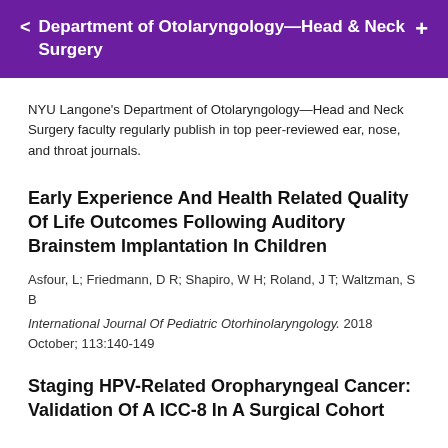< Department of Otolaryngology—Head & Neck Surgery +
NYU Langone's Department of Otolaryngology—Head and Neck Surgery faculty regularly publish in top peer-reviewed ear, nose, and throat journals.
Early Experience And Health Related Quality Of Life Outcomes Following Auditory Brainstem Implantation In Children
Asfour, L; Friedmann, D R; Shapiro, W H; Roland, J T; Waltzman, S B
International Journal Of Pediatric Otorhinolaryngology. 2018 October; 113:140-149
Staging HPV-Related Oropharyngeal Cancer: Validation Of A ICC-8 In A Surgical Cohort